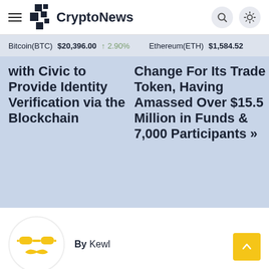CryptoNews
Bitcoin(BTC) $20,396.00 ↑ 2.90%   Ethereum(ETH) $1,584.52
with Civic to Provide Identity Verification via the Blockchain
Change For Its Trade Token, Having Amassed Over $15.5 Million in Funds & 7,000 Participants »
By Kewl